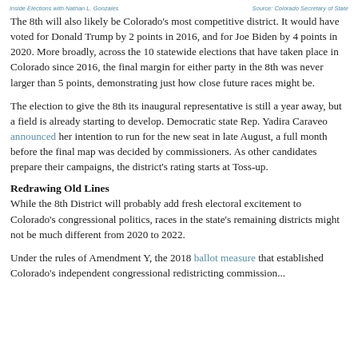Inside Elections with Nathan L. Gonzales | Source: Colorado Secretary of State
The 8th will also likely be Colorado's most competitive district. It would have voted for Donald Trump by 2 points in 2016, and for Joe Biden by 4 points in 2020. More broadly, across the 10 statewide elections that have taken place in Colorado since 2016, the final margin for either party in the 8th was never larger than 5 points, demonstrating just how close future races might be.
The election to give the 8th its inaugural representative is still a year away, but a field is already starting to develop. Democratic state Rep. Yadira Caraveo announced her intention to run for the new seat in late August, a full month before the final map was decided by commissioners. As other candidates prepare their campaigns, the district's rating starts at Toss-up.
Redrawing Old Lines
While the 8th District will probably add fresh electoral excitement to Colorado's congressional politics, races in the state's remaining districts might not be much different from 2020 to 2022.
Under the rules of Amendment Y, the 2018 ballot measure that established Colorado's independent congressional redistricting commission...